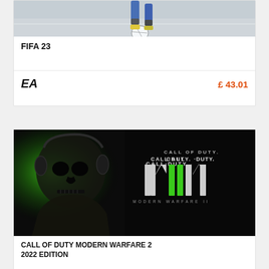[Figure (photo): FIFA 23 game cover showing soccer players and a ball on a light background]
FIFA 23
[Figure (logo): EA logo (Electronic Arts) in black italic bold text]
£ 43.01
[Figure (photo): Call of Duty Modern Warfare 2 game cover showing a skull-masked soldier with green glow, and the CALL OF DUTY MIIM logo on dark background]
CALL OF DUTY MODERN WARFARE 2 2022 EDITION